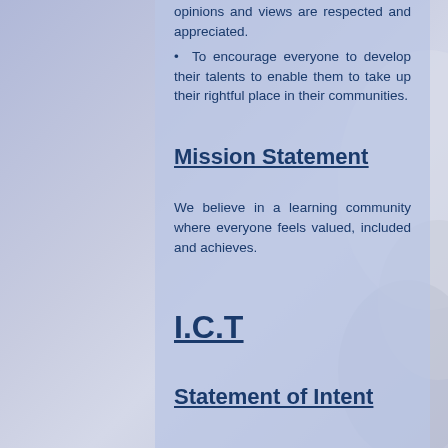opinions and views are respected and appreciated.
To encourage everyone to develop their talents to enable them to take up their rightful place in their communities.
Mission Statement
We believe in a learning community where everyone feels valued, included and achieves.
I.C.T
Statement of Intent